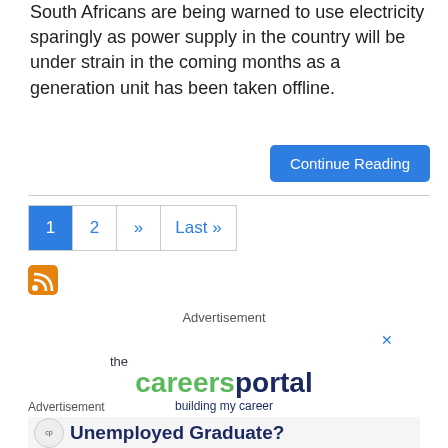South Africans are being warned to use electricity sparingly as power supply in the country will be under strain in the coming months as a generation unit has been taken offline.
Continue Reading
1
2
»
Last »
[Figure (other): RSS feed icon (orange square with white wifi lines)]
Advertisement
[Figure (logo): The Careers Portal logo with tagline 'building my career']
Advertisement
[Figure (screenshot): Careers portal ad with text 'Unemployed Graduate?']